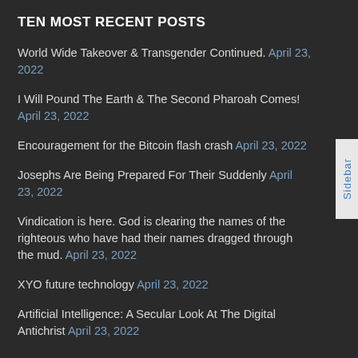TEN MOST RECENT POSTS
World Wide Takeover & Transgender Continued. April 23, 2022
I Will Pound The Earth & The Second Pharoah Comes! April 23, 2022
Encouragement for the Bitcoin flash crash April 23, 2022
Josephs Are Being Prepared For Their Suddenly April 23, 2022
Vindication is here. God is clearing the names of the righteous who have had their names dragged through the mud. April 23, 2022
XYO future technology April 23, 2022
Artificial Intelligence: A Secular Look At The Digital Antichrist April 23, 2022